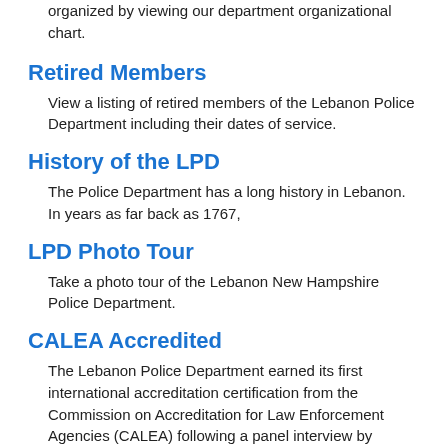organized by viewing our department organizational chart.
Retired Members
View a listing of retired members of the Lebanon Police Department including their dates of service.
History of the LPD
The Police Department has a long history in Lebanon. In years as far back as 1767,
LPD Photo Tour
Take a photo tour of the Lebanon New Hampshire Police Department.
CALEA Accredited
The Lebanon Police Department earned its first international accreditation certification from the Commission on Accreditation for Law Enforcement Agencies (CALEA) following a panel interview by CALEA commissioners at CALEA's Fall Virtual Conference on November 13, 2020.